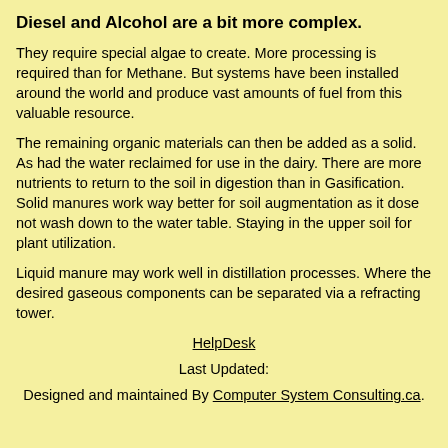Diesel and Alcohol are a bit more complex.
They require special algae to create. More processing is required than for Methane. But systems have been installed around the world and produce vast amounts of fuel from this valuable resource.
The remaining organic materials can then be added as a solid. As had the water reclaimed for use in the dairy. There are more nutrients to return to the soil in digestion than in Gasification. Solid manures work way better for soil augmentation as it dose not wash down to the water table. Staying in the upper soil for plant utilization.
Liquid manure may work well in distillation processes. Where the desired gaseous components can be separated via a refracting tower.
HelpDesk
Last Updated:
Designed and maintained By Computer System Consulting.ca.